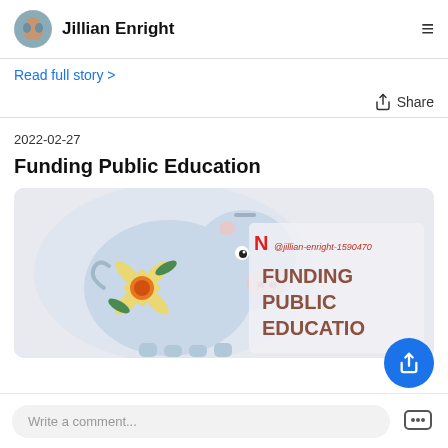Jillian Enright
Read full story >
Share
2022-02-27
Funding Public Education
[Figure (photo): Article header image showing a light blue ceramic piggy bank with a yellow daisy decoration, with text overlay reading 'FUNDING PUBLIC EDUCATION' and a Newsbreak handle '@jillian-enright-1590470']
Write a comment...